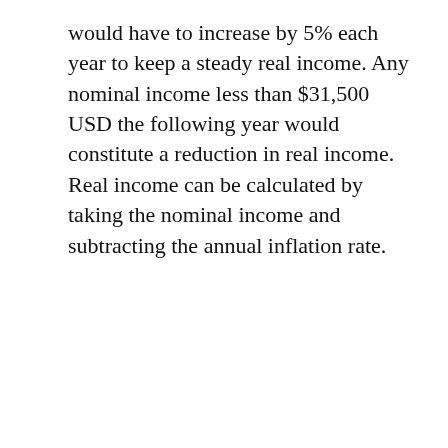would have to increase by 5% each year to keep a steady real income. Any nominal income less than $31,500 USD the following year would constitute a reduction in real income. Real income can be calculated by taking the nominal income and subtracting the annual inflation rate.